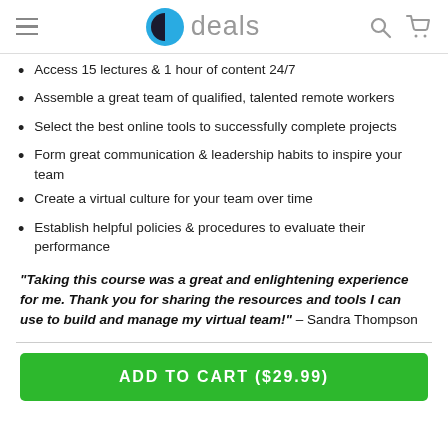b deals
Access 15 lectures & 1 hour of content 24/7
Assemble a great team of qualified, talented remote workers
Select the best online tools to successfully complete projects
Form great communication & leadership habits to inspire your team
Create a virtual culture for your team over time
Establish helpful policies & procedures to evaluate their performance
"Taking this course was a great and enlightening experience for me. Thank you for sharing the resources and tools I can use to build and manage my virtual team!" – Sandra Thompson
ADD TO CART ($29.99)